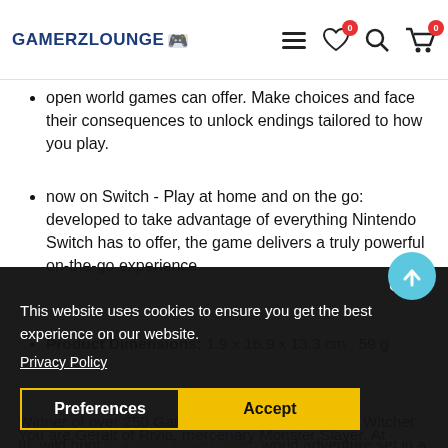GAMERZLOUNGE
open world games can offer. Make choices and face their consequences to unlock endings tailored to how you play.
now on Switch - Play at home and on the go: developed to take advantage of everything Nintendo Switch has to offer, the game delivers a truly powerful on-the-go experience.
Product Dimensions: 1.9 x 16.9 x 13.3 cm ; 59 g
This website uses cookies to ensure you get the best experience on our website.
Privacy Policy
Winner of over 250 Game of the Year awards, the Witcher III: wild hunt is a story-driven, open world adventure set in a dark fantasy universe.
You are Geralt of Rivia, mercenary Monster Slayer. At